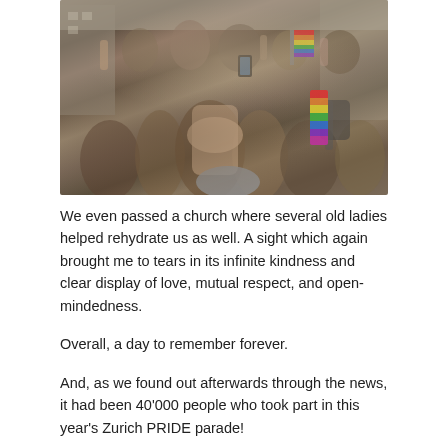[Figure (photo): Crowd photo of a Pride parade from behind, many people raising hands, a shirtless person with rainbow-dyed hair center-back, someone with a rainbow bag on the right, taken on a city street with buildings in background.]
We even passed a church where several old ladies helped rehydrate us as well. A sight which again brought me to tears in its infinite kindness and clear display of love, mutual respect, and open-mindedness.
Overall, a day to remember forever.
And, as we found out afterwards through the news, it had been 40'000 people who took part in this year's Zurich PRIDE parade!